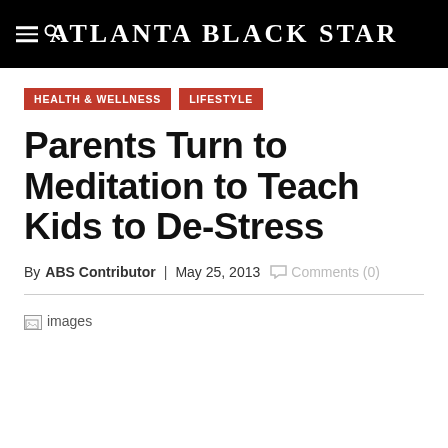Atlanta Black Star
HEALTH & WELLNESS   LIFESTYLE
Parents Turn to Meditation to Teach Kids to De-Stress
By ABS Contributor | May 25, 2013  Comments (0)
[Figure (photo): Broken image placeholder labeled 'images']